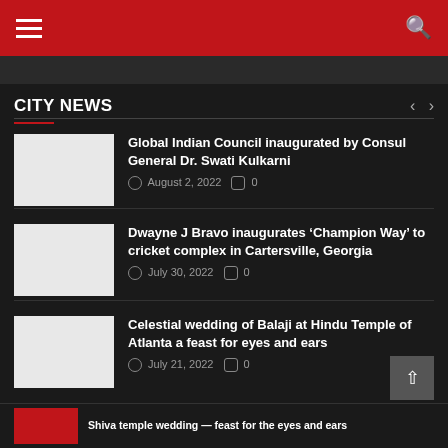Navigation bar with hamburger menu and search icon
CITY NEWS
Global Indian Council inaugurated by Consul General Dr. Swati Kulkarni | August 2, 2022 | 0 comments
Dwayne J Bravo inaugurates ‘Champion Way’ to cricket complex in Cartersville, Georgia | July 30, 2022 | 0 comments
Celestial wedding of Balaji at Hindu Temple of Atlanta a feast for eyes and ears | July 21, 2022 | 0 comments